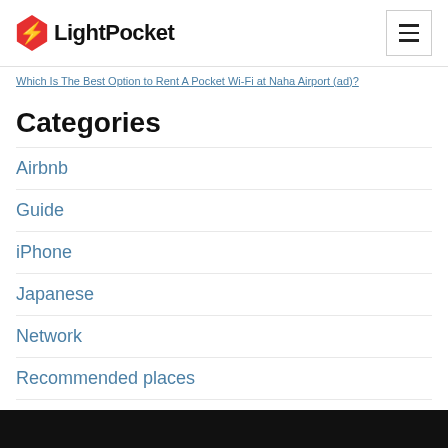LightPocket
Which Is The Best Option to Rent A Pocket Wi-Fi at Naha Airport (ad)?
Categories
Airbnb
Guide
iPhone
Japanese
Network
Recommended places
SIM
Wi-Fi